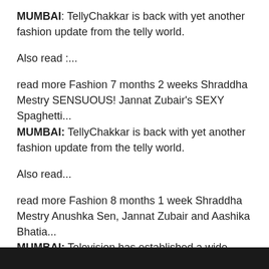MUMBAI: TellyChakkar is back with yet another fashion update from the telly world.
Also read :...
read more Fashion 7 months 2 weeks Shraddha Mestry SENSUOUS! Jannat Zubair's SEXY Spaghetti... MUMBAI: TellyChakkar is back with yet another fashion update from the telly world.
Also read...
read more Fashion 8 months 1 week Shraddha Mestry Anushka Sen, Jannat Zubair and Aashika Bhatia... MUMBAI: Television has established a wide reach that it is seldom that talent does not find its place in the industry. ...
read more Fashion 2 years 8 months TellychakkarTeam